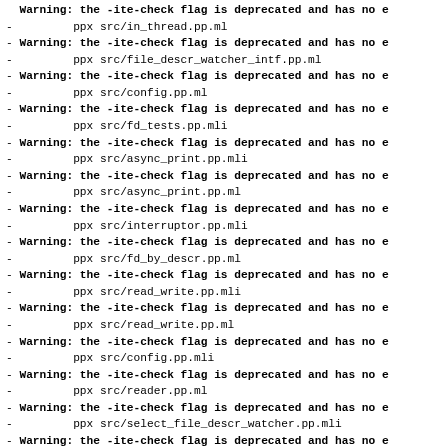Warning: the -ite-check flag is deprecated and has no e
-         ppx src/in_thread.pp.ml
- Warning: the -ite-check flag is deprecated and has no e
-         ppx src/file_descr_watcher_intf.pp.ml
- Warning: the -ite-check flag is deprecated and has no e
-         ppx src/config.pp.ml
- Warning: the -ite-check flag is deprecated and has no e
-         ppx src/fd_tests.pp.mli
- Warning: the -ite-check flag is deprecated and has no e
-         ppx src/async_print.pp.mli
- Warning: the -ite-check flag is deprecated and has no e
-         ppx src/async_print.pp.ml
- Warning: the -ite-check flag is deprecated and has no e
-         ppx src/interruptor.pp.mli
- Warning: the -ite-check flag is deprecated and has no e
-         ppx src/fd_by_descr.pp.ml
- Warning: the -ite-check flag is deprecated and has no e
-         ppx src/read_write.pp.mli
- Warning: the -ite-check flag is deprecated and has no e
-         ppx src/read_write.pp.ml
- Warning: the -ite-check flag is deprecated and has no e
-         ppx src/config.pp.mli
- Warning: the -ite-check flag is deprecated and has no e
-         ppx src/reader.pp.ml
- Warning: the -ite-check flag is deprecated and has no e
-         ppx src/select_file_descr_watcher.pp.mli
- Warning: the -ite-check flag is deprecated and has no e
-         ppx src/process.pp.ml
- Warning: the -ite-check flag is deprecated and has no e
-         ppx src/scheduler.pp.mli
- Warning: the -ite-check flag is deprecated and has no e